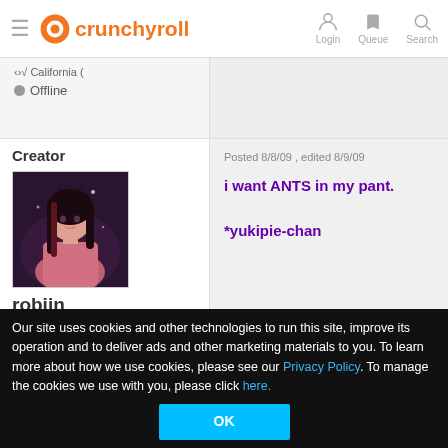Crunchyroll - Login | Queue | Search
Offline
Creator
[Figure (illustration): Anime-style profile avatar image of a female character with long dark hair, wearing a pink/red outfit against a dark background.]
robiin
64466 cr points
Send Message:
Posted 8/8/09 , edited 8/9/09
i want ANTS in my pant.

*yukipie-chan
Our site uses cookies and other technologies to run this site, improve its operation and to deliver ads and other marketing materials to you. To learn more about how we use cookies, please see our Privacy Policy. To manage the cookies we use with you, please click here.
OK